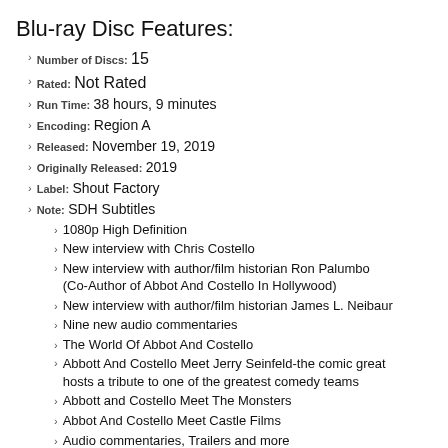Blu-ray Disc Features:
Number of Discs: 15
Rated: Not Rated
Run Time: 38 hours, 9 minutes
Encoding: Region A
Released: November 19, 2019
Originally Released: 2019
Label: Shout Factory
Note: SDH Subtitles
1080p High Definition
New interview with Chris Costello
New interview with author/film historian Ron Palumbo (Co-Author of Abbot And Costello In Hollywood)
New interview with author/film historian James L. Neibaur
Nine new audio commentaries
The World Of Abbot And Costello
Abbott And Costello Meet Jerry Seinfeld-the comic great hosts a tribute to one of the greatest comedy teams
Abbott and Costello Meet The Monsters
Abbot And Costello Meet Castle Films
Audio commentaries, Trailers and more